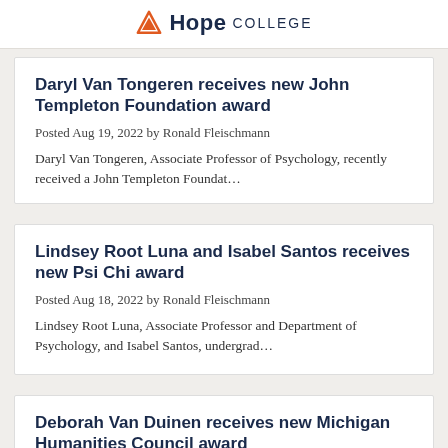Hope College
Daryl Van Tongeren receives new John Templeton Foundation award
Posted Aug 19, 2022 by Ronald Fleischmann
Daryl Van Tongeren, Associate Professor of Psychology, recently received a John Templeton Foundat...
Lindsey Root Luna and Isabel Santos receives new Psi Chi award
Posted Aug 18, 2022 by Ronald Fleischmann
Lindsey Root Luna, Associate Professor and Department of Psychology, and Isabel Santos, undergrad...
Deborah Van Duinen receives new Michigan Humanities Council award